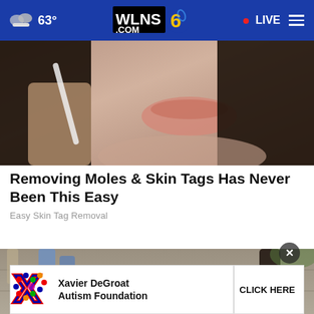63° WLNS6.COM LIVE
[Figure (photo): Close-up of a woman's lower face and hand holding a small object near her chin]
Removing Moles & Skin Tags Has Never Been This Easy
Easy Skin Tag Removal
[Figure (photo): Outdoor scene showing people's legs and feet on a paved surface with scattered debris and red cords]
[Figure (infographic): Xavier DeGroat Autism Foundation advertisement banner with colorful X logo and CLICK HERE button]